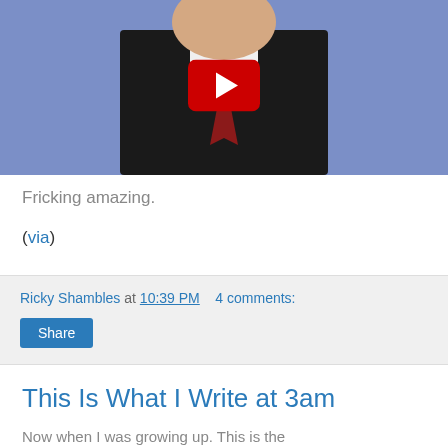[Figure (screenshot): YouTube video thumbnail showing a man in a dark suit with a red tie against a blue background, with a YouTube play button overlay in the center]
Fricking amazing.
(via)
Ricky Shambles at 10:39 PM    4 comments:
Share
This Is What I Write at 3am
Now when I was growing up. This is the